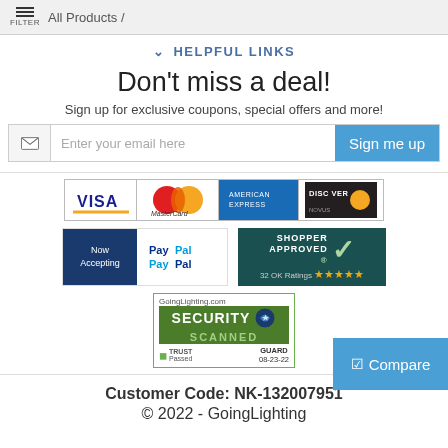FILTER  All Products /
✔ HELPFUL LINKS
Don't miss a deal!
Sign up for exclusive coupons, special offers and more!
[Figure (screenshot): Email signup input with envelope icon, placeholder text 'Enter your email here', and a blue 'Sign me up' button]
[Figure (logo): Payment methods: VISA, MasterCard, American Express, Discover credit card logos in a strip]
[Figure (logo): Now Accepting PayPal badge and Shopper Approved badge showing 32 OK Ratings with 5 stars]
[Figure (logo): GoingLighting.com Security Scanned Trust Guard Passed 08-23-22 badge]
[Figure (screenshot): Blue Compare button with checkmark icon]
Customer Code: NK-132007951
© 2022 - GoingLighting